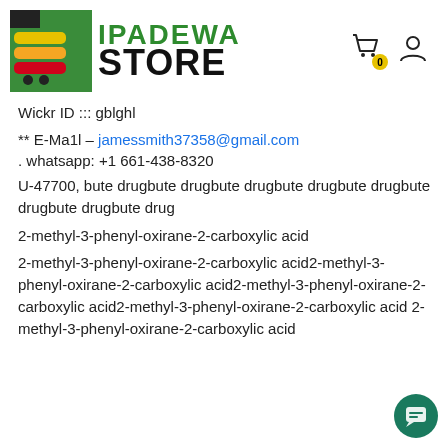[Figure (logo): Ipadewa Store logo with green icon on left and 'IPADEWA STORE' text in green and black]
Wickr ID ::: gblghl
** E-Ma1l - jamessmith37358@gmail.com
. whatsapp: +1 661-438-8320
U-47700, bute drugbute drugbute drugbute drugbute drugbute drugbute drugbute drug
2-methyl-3-phenyl-oxirane-2-carboxylic acid
2-methyl-3-phenyl-oxirane-2-carboxylic acid2-methyl-3-phenyl-oxirane-2-carboxylic acid2-methyl-3-phenyl-oxirane-2-carboxylic acid2-methyl-3-phenyl-oxirane-2-carboxylic acid 2-methyl-3-phenyl-oxirane-2-carboxylic acid